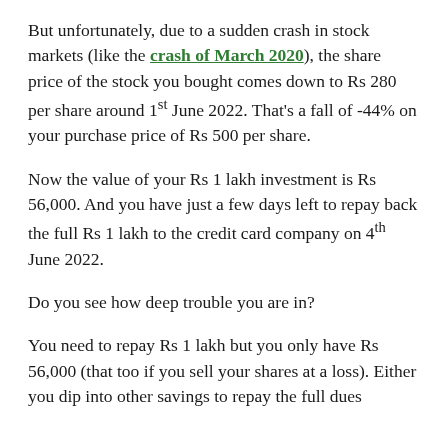But unfortunately, due to a sudden crash in stock markets (like the crash of March 2020), the share price of the stock you bought comes down to Rs 280 per share around 1st June 2022. That's a fall of -44% on your purchase price of Rs 500 per share.
Now the value of your Rs 1 lakh investment is Rs 56,000. And you have just a few days left to repay back the full Rs 1 lakh to the credit card company on 4th June 2022.
Do you see how deep trouble you are in?
You need to repay Rs 1 lakh but you only have Rs 56,000 (that too if you sell your shares at a loss). Either you dip into other savings to repay the full dues